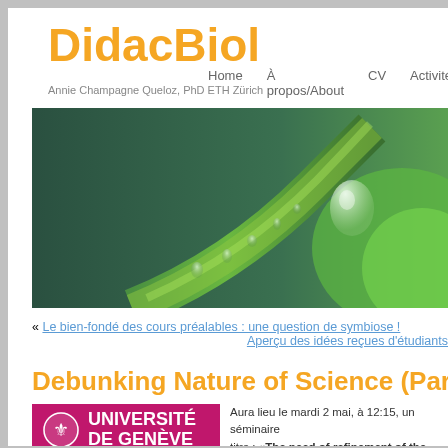DidacBiol
Annie Champagne Queloz, PhD ETH Zürich
Home   À propos/About   CV   Activité
[Figure (photo): Close-up photo of a green plant stem with water droplets against a dark green blurred background]
« Le bien-fondé des cours préalables : une question de symbiose !
Aperçu des idées reçues d'étudiants
Debunking Nature of Science (Part 1)
[Figure (logo): Université de Genève logo — pink/magenta background with white lion crest and white bold text 'UNIVERSITÉ DE GENÈVE']
Aura lieu le mardi 2 mai, à 12:15, un séminaire
titre : "The need of refinement of the feature
Nature of Science sometimes stated to be th